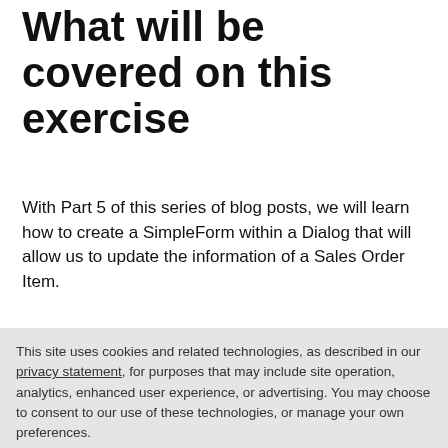What will be covered on this exercise
With Part 5 of this series of blog posts, we will learn how to create a SimpleForm within a Dialog that will allow us to update the information of a Sales Order Item.
Before updating the database order we have to check that everything typed by the user validates our constraints.
This site uses cookies and related technologies, as described in our privacy statement, for purposes that may include site operation, analytics, enhanced user experience, or advertising. You may choose to consent to our use of these technologies, or manage your own preferences.
Accept Cookies
More Information
Privacy Policy | Powered by: TrustArc
custom formatter functions